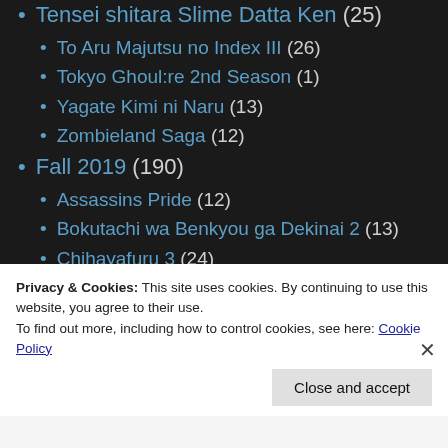Tensei shitara Slime Datta Ken (25)
To Aru Majutsu no Index III (26)
Tokyo Ghoul:re 2nd Season (1)
Yagate Kimi ni Naru (13)
Zombieland Saga (12)
Fall 2019 (190)
Assassins Pride (12)
Bokutachi wa Benkyou ga Dekinai 2 (13)
Chihayafuru 3 (24)
Chuubyou Gekihatsu Boy (11)
Fate/Grand Order: Zettai Majuu Sensen Babylonia (22)
Privacy & Cookies: This site uses cookies. By continuing to use this website, you agree to their use.
To find out more, including how to control cookies, see here: Cookie Policy
Close and accept